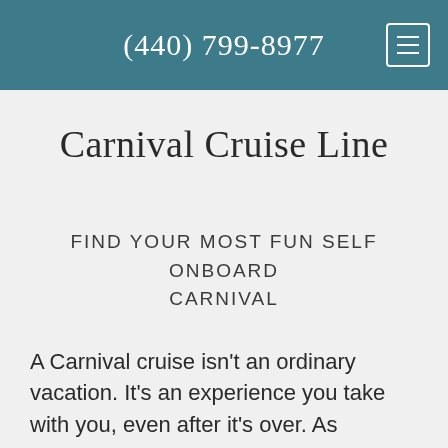(440) 799-8977
Carnival Cruise Line
FIND YOUR MOST FUN SELF ONBOARD CARNIVAL
A Carnival cruise isn't an ordinary vacation. It's an experience you take with you, even after it's over. As America's Cruise Line we're all about fun vacations at sea and ashore! We